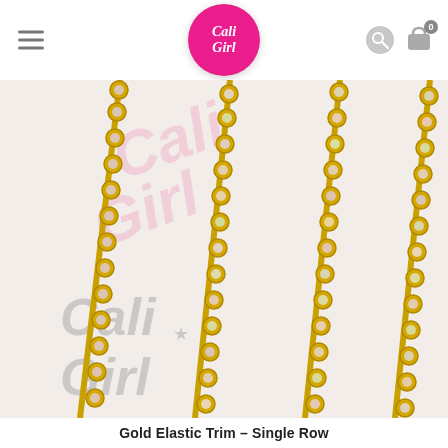[Figure (logo): Cali Girl logo - pink circle with white italic text]
[Figure (photo): Close-up photo of gold elastic trim with single row of iridescent AB rhinestone crystals in gold cup settings, with Cali Girl watermark text in background]
Gold Elastic Trim – Single Row